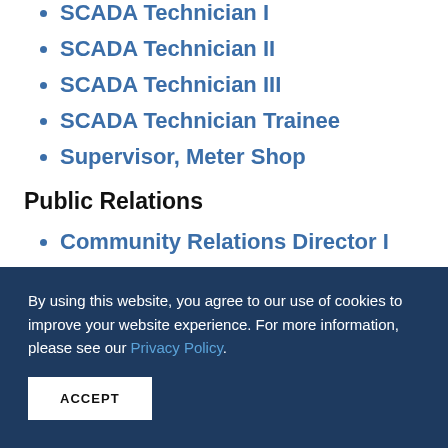SCADA Technician I
SCADA Technician II
SCADA Technician III
SCADA Technician Trainee
Supervisor, Meter Shop
Public Relations
Community Relations Director I
Community Relations Director II
Communications Coordinator
Director of Communications I
By using this website, you agree to our use of cookies to improve your website experience. For more information, please see our Privacy Policy.
ACCEPT